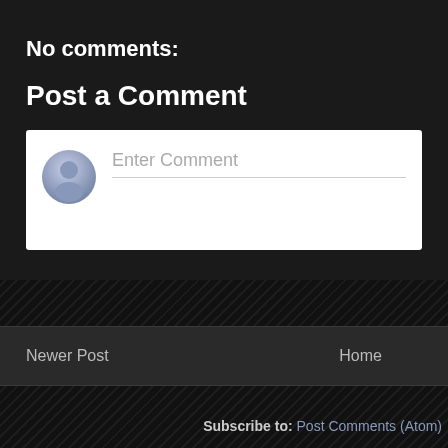No comments:
Post a Comment
[Figure (screenshot): Comment input box with gray avatar icon on left and 'Enter Comment' placeholder text with underline on right, on white background]
Newer Post
Home
Subscribe to: Post Comments (Atom)
Copyright 2010 to 2022 by each individ